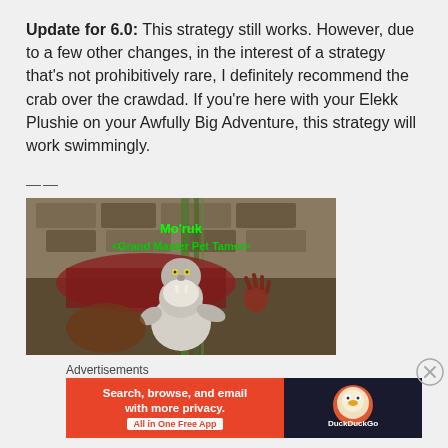Update for 6.0: This strategy still works. However, due to a few other changes, in the interest of a strategy that's not prohibitively rare, I definitely recommend the crab over the crawdad. If you're here with your Elekk Plushie on your Awfully Big Adventure, this strategy will work swimmingly.
——
[Figure (screenshot): In-game screenshot of Mo'ruk <Grand Master Pet Tamer> character with green text label, showing an anthropomorphic creature character in a fantasy game environment.]
Advertisements
[Figure (other): DuckDuckGo advertisement banner: 'Search, browse, and email with more privacy. All in One Free App' with DuckDuckGo logo on dark background.]